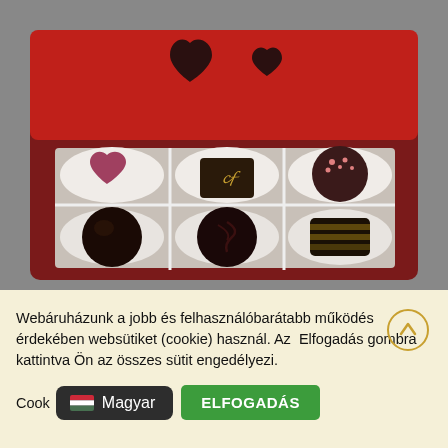[Figure (photo): A red heart-shaped chocolate gift box viewed from above, open lid showing two heart-shaped cutouts, containing 6 chocolates in a 2x3 grid arrangement: top row has a heart-shaped pink chocolate, a square dark chocolate with gold script, and a round dark chocolate with red sprinkles; bottom row has three dark chocolates of different shapes.]
Webáruházunk a jobb és felhasználóbarátabb működés érdekében websütiket (cookie) használ. Az Elfogadás gombra kattintva Ön az összes sütit engedélyezi.
Cookie
Magyar
ELFOGADÁS